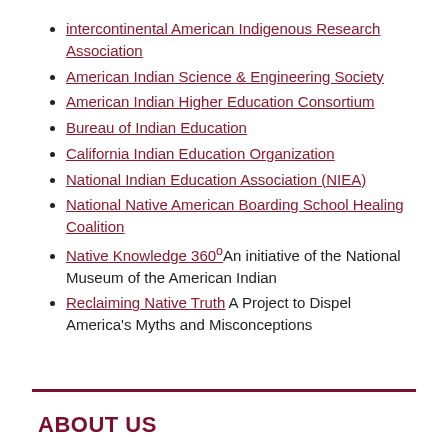intercontinental American Indigenous Research Association
American Indian Science & Engineering Society
American Indian Higher Education Consortium
Bureau of Indian Education
California Indian Education Organization
National Indian Education Association (NIEA)
National Native American Boarding School Healing Coalition
Native Knowledge 360° An initiative of the National Museum of the American Indian
Reclaiming Native Truth A Project to Dispel America's Myths and Misconceptions
ABOUT US